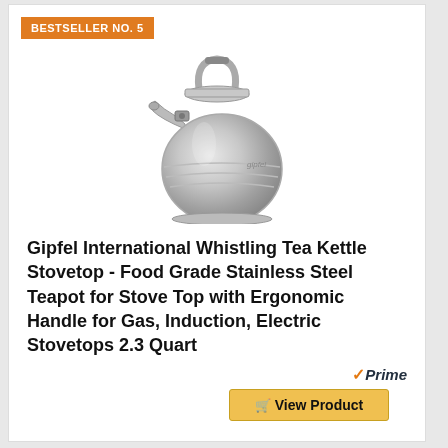BESTSELLER NO. 5
[Figure (photo): Stainless steel whistling tea kettle with ergonomic handle, shown on white background]
Gipfel International Whistling Tea Kettle Stovetop - Food Grade Stainless Steel Teapot for Stove Top with Ergonomic Handle for Gas, Induction, Electric Stovetops 2.3 Quart
Prime
View Product